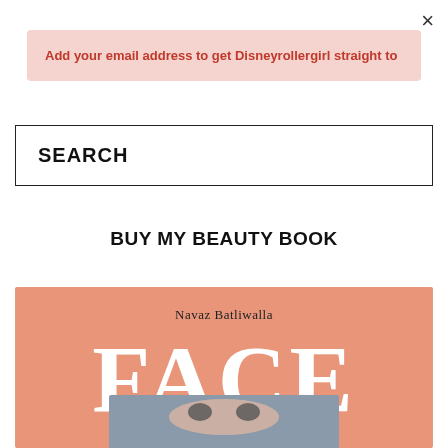×
Add your email address to get Disneyrollergirl straight to
SEARCH
BUY MY BEAUTY BOOK
[Figure (illustration): Book cover for 'FACE' by Navaz Batliwalla. Salmon/coral pink background with large white serif text reading FACE, with a gray rectangle containing a stylized face illustration.]